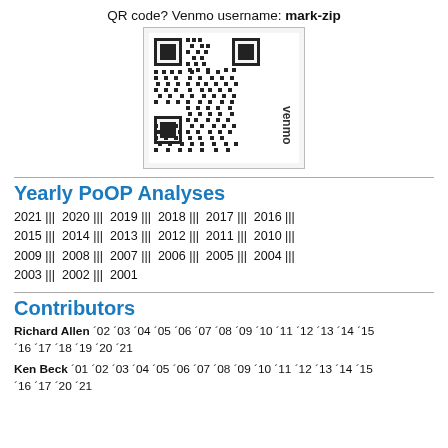QR code? Venmo username: mark-zip
[Figure (other): Venmo QR code with 'venmo' text on the side]
Yearly PoOP Analyses
2021 ||| 2020 ||| 2019 ||| 2018 ||| 2017 ||| 2016 ||| 2015 ||| 2014 ||| 2013 ||| 2012 ||| 2011 ||| 2010 ||| 2009 ||| 2008 ||| 2007 ||| 2006 ||| 2005 ||| 2004 ||| 2003 ||| 2002 ||| 2001
Contributors
Richard Allen ´02 ´03 ´04 ´05 ´06 ´07 ´08 ´09 ´10 ´11 ´12 ´13 ´14 ´15 ´16 ´17 ´18 ´19 ´20 ´21
Ken Beck ´01 ´02 ´03 ´04 ´05 ´06 ´07 ´08 ´09 ´10 ´11 ´12 ´13 ´14 ´15 ´16 ´17 ´20 ´21